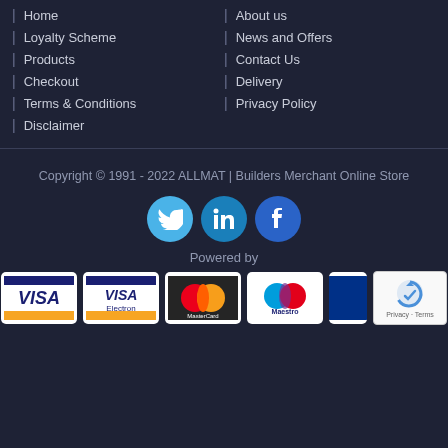| Home
| Loyalty Scheme
| Products
| Checkout
| Terms & Conditions
| Disclaimer
| About us
| News and Offers
| Contact Us
| Delivery
| Privacy Policy
Copyright © 1991 - 2022 ALLMAT | Builders Merchant Online Store
[Figure (infographic): Three social media icon circles: Twitter (light blue), LinkedIn (teal/blue), Facebook (blue)]
Powered by
[Figure (infographic): Payment method logos: VISA, VISA Electron, MasterCard, Maestro, and a partial card logo, plus reCAPTCHA badge]